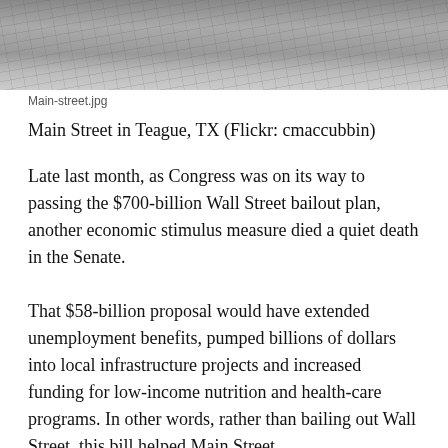[Figure (photo): Photograph of Main Street in Teague, TX — a paved road surface with cracks, gray asphalt texture, taken from street level looking down.]
Main-street.jpg
Main Street in Teague, TX (Flickr: cmaccubbin)
Late last month, as Congress was on its way to passing the $700-billion Wall Street bailout plan, another economic stimulus measure died a quiet death in the Senate.
That $58-billion proposal would have extended unemployment benefits, pumped billions of dollars into local infrastructure projects and increased funding for low-income nutrition and health-care programs. In other words, rather than bailing out Wall Street, this bill helped Main Street.